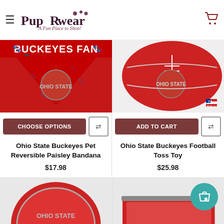[Figure (logo): PupRwear logo with paw prints and tagline 'A Fun Place to Shop!']
[Figure (photo): Ohio State Buckeyes Pet Reversible Paisley Bandana - red bandana with 'Buckeyes Fan' text and Ohio State branding]
[Figure (photo): Ohio State Buckeyes Football Toss Toy - red football with Ohio State branding]
CHOOSE OPTIONS
ADD TO CART
Ohio State Buckeyes Pet Reversible Paisley Bandana
$17.98
Ohio State Buckeyes Football Toss Toy
$25.98
[Figure (photo): Ohio State Buckeyes pet frisbee disc - red and gray]
[Figure (photo): Ohio State Buckeyes pet bowl or carrier - red fabric item]